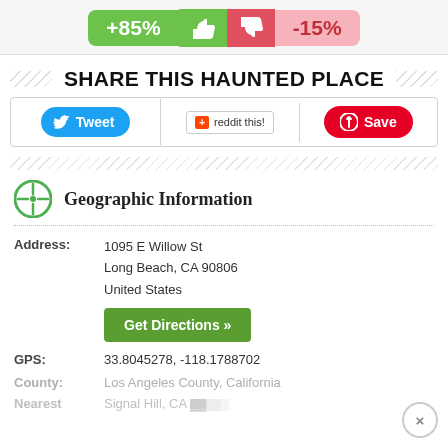[Figure (infographic): Voting bar showing +85% positive votes (green) and -15% negative votes (red/pink) with thumbs up and thumbs down icons]
SHARE THIS HAUNTED PLACE
[Figure (infographic): Social sharing buttons: Tweet (Twitter), reddit this!, and Save (Pinterest)]
Geographic Information
Address: 1095 E Willow St
Long Beach, CA 90806
United States
Get Directions »
GPS: 33.8045278, -118.1788702
County: Los Angeles County, California
Nearest: Signal Hill, CA [truncated]